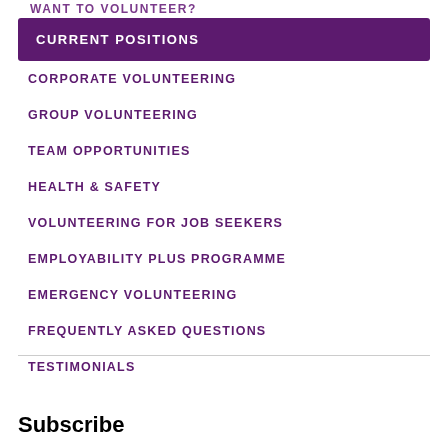WANT TO VOLUNTEER?
CURRENT POSITIONS
CORPORATE VOLUNTEERING
GROUP VOLUNTEERING
TEAM OPPORTUNITIES
HEALTH & SAFETY
VOLUNTEERING FOR JOB SEEKERS
EMPLOYABILITY PLUS PROGRAMME
EMERGENCY VOLUNTEERING
FREQUENTLY ASKED QUESTIONS
TESTIMONIALS
Subscribe